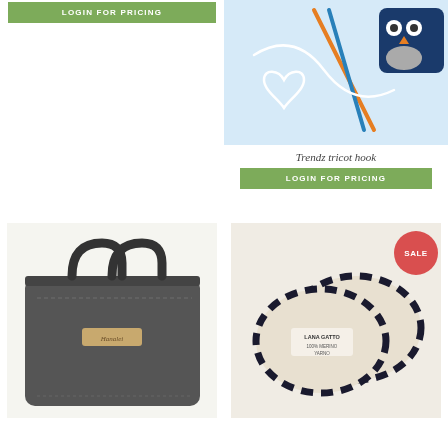[Figure (photo): Green LOGIN FOR PRICING button at top of left column]
[Figure (photo): Photo of colorful knitting needles and a blue owl toy on light blue background]
Trendz tricot hook
[Figure (photo): Green LOGIN FOR PRICING button below product name]
[Figure (photo): Dark grey felt briefcase/laptop bag with handles and a small golden label]
[Figure (photo): Two skeins of black and white/cream variegated yarn (Lana Gatto brand) with a red SALE badge]